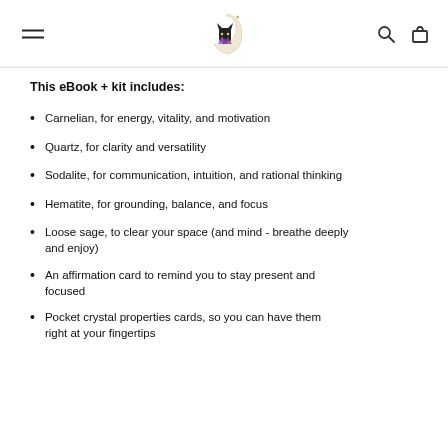[Logo: moon and cat with crystals] [hamburger menu] [search icon] [cart icon]
This eBook + kit includes:
Carnelian, for energy, vitality, and motivation
Quartz, for clarity and versatility
Sodalite, for communication, intuition, and rational thinking
Hematite, for grounding, balance, and focus
Loose sage, to clear your space (and mind - breathe deeply and enjoy)
An affirmation card to remind you to stay present and focused
Pocket crystal properties cards, so you can have them right at your fingertips